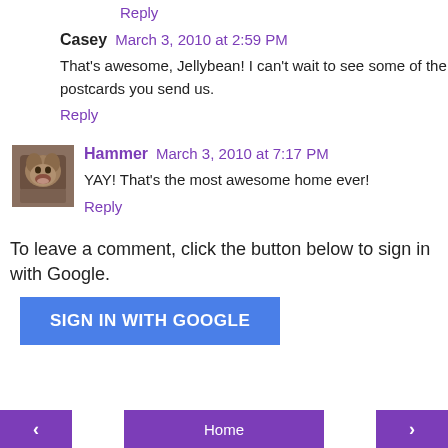Reply
Casey  March 3, 2010 at 2:59 PM
That's awesome, Jellybean! I can't wait to see some of the postcards you send us.
Reply
[Figure (photo): Avatar of Hammer commenter, dog photo]
Hammer  March 3, 2010 at 7:17 PM
YAY! That's the most awesome home ever!
Reply
To leave a comment, click the button below to sign in with Google.
SIGN IN WITH GOOGLE
‹  Home  ›